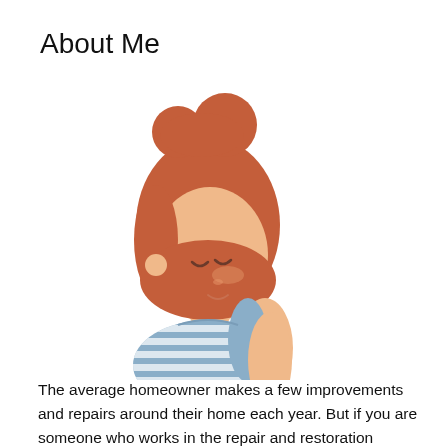About Me
[Figure (illustration): Cartoon illustration of a young woman with auburn/red hair in a bun, seen from a side-profile angle, eyes closed, wearing a blue and white striped sleeveless top. She has a warm skin tone and a peaceful expression.]
The average homeowner makes a few improvements and repairs around their home each year. But if you are someone who works in the repair and restoration industry, you do so